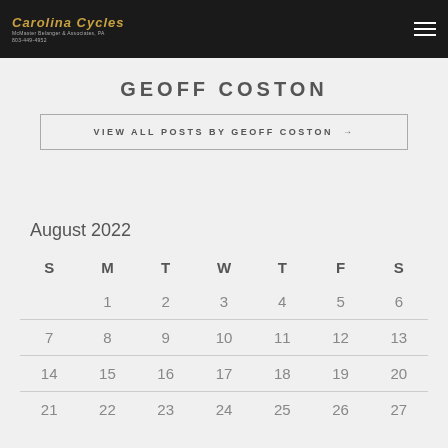Carolina Cycles — McMaster Belanger & Associates, PA 803-449-4952
GEOFF COSTON
VIEW ALL POSTS BY GEOFF COSTON →
August 2022
| S | M | T | W | T | F | S |
| --- | --- | --- | --- | --- | --- | --- |
|  | 1 | 2 | 3 | 4 | 5 | 6 |
| 7 | 8 | 9 | 10 | 11 | 12 | 13 |
| 14 | 15 | 16 | 17 | 18 | 19 | 20 |
| 21 | 22 | 23 | 24 | 25 | 26 | 27 |